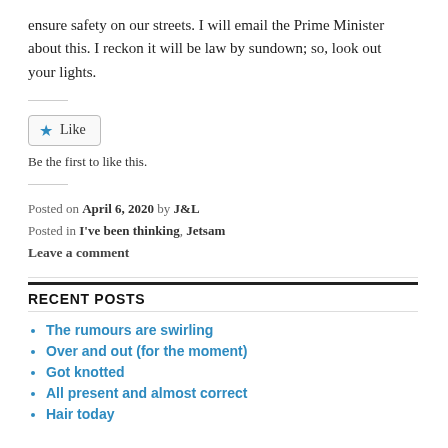ensure safety on our streets. I will email the Prime Minister about this. I reckon it will be law by sundown; so, look out your lights.
Like
Be the first to like this.
Posted on April 6, 2020 by J&L
Posted in I've been thinking, Jetsam
Leave a comment
RECENT POSTS
The rumours are swirling
Over and out (for the moment)
Got knotted
All present and almost correct
Hair today